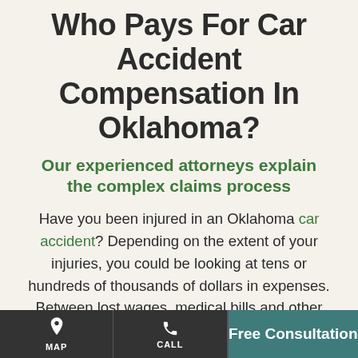Who Pays For Car Accident Compensation In Oklahoma?
Our experienced attorneys explain the complex claims process
Have you been injured in an Oklahoma car accident? Depending on the extent of your injuries, you could be looking at tens or hundreds of thousands of dollars in expenses. Between lost wages, medical bills and other costs, even a seemingly minor accident can have a major price
MAP | CALL | Free Consultation